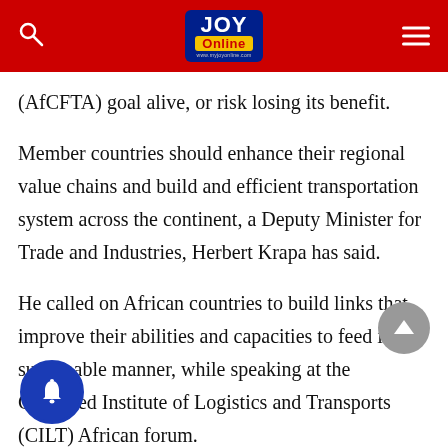Joy Online
(AfCFTA) goal alive, or risk losing its benefit.
Member countries should enhance their regional value chains and build and efficient transportation system across the continent, a Deputy Minister for Trade and Industries, Herbert Krapa has said.
He called on African countries to build links that improve their abilities and capacities to feed in a sustainable manner, while speaking at the Chartered Institute of Logistics and Transports (CILT) African forum.